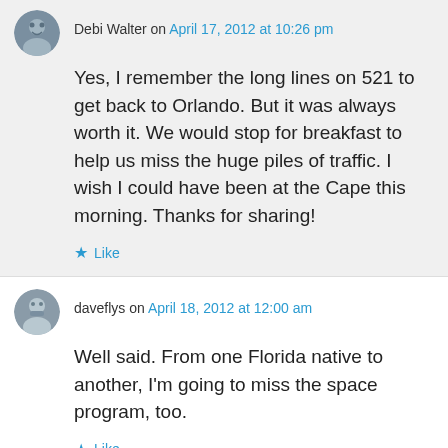Debi Walter on April 17, 2012 at 10:26 pm
Yes, I remember the long lines on 521 to get back to Orlando. But it was always worth it. We would stop for breakfast to help us miss the huge piles of traffic. I wish I could have been at the Cape this morning. Thanks for sharing!
Like
daveflys on April 18, 2012 at 12:00 am
Well said. From one Florida native to another, I'm going to miss the space program, too.
Like